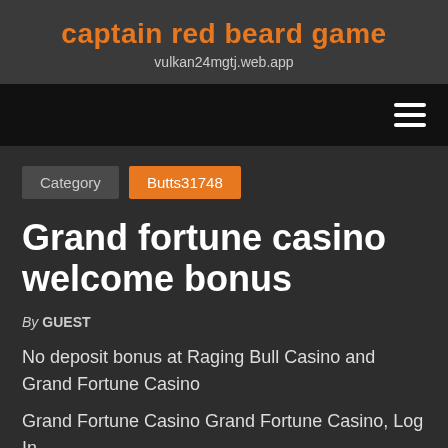captain red beard game
vulkan24mgtj.web.app
[Figure (other): Navigation bar with hamburger menu icon (three horizontal lines) on dark/black background]
Category   Butts31748
Grand fortune casino welcome bonus
By GUEST
No deposit bonus at Raging Bull Casino and Grand Fortune Casino
Grand Fortune Casino Grand Fortune Casino, Log In